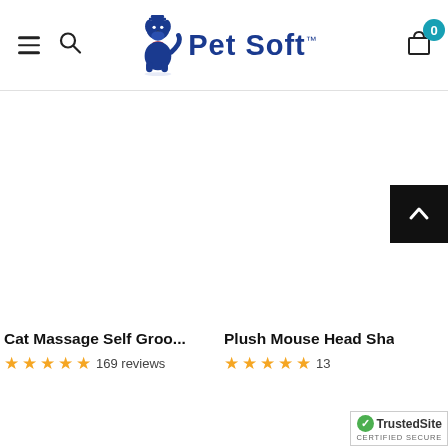Pet Soft - navigation header with menu, search, logo, and cart
[Figure (screenshot): Pet Soft website product listing page showing two products: Cat Massage Self Groo... with 169 reviews and Plush Mouse Head Shap... with 13+ reviews, and a TrustedSite certified secure badge]
Cat Massage Self Groo...
169 reviews
Plush Mouse Head Shap...
13